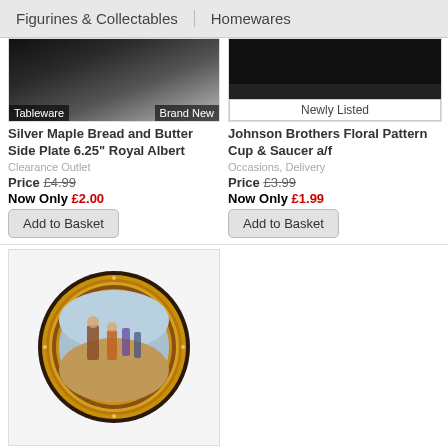Figurines & Collectables   Homewares
[Figure (photo): Partial view of tableware item, brand new label]
Silver Maple Bread and Butter Side Plate 6.25" Royal Albert
Clearance Outlet
Price £4.99
Now Only £2.00
Add to Basket
[Figure (photo): Johnson Brothers Floral Pattern Cup & Saucer, newly listed label]
Johnson Brothers Floral Pattern Cup & Saucer a/f
Occasions, Delivery
Price £3.99
Now Only £1.99
Add to Basket
[Figure (photo): Royal Doulton Queen Elizabeth I Knighting Sir Francis Drake Gallery Plate PN1 - decorative collector plate with ornate gold border]
Royal Doulton Queen Elizabeth I Knighting Sir Francis Drake Gallery Plate PN1
Price £49.99